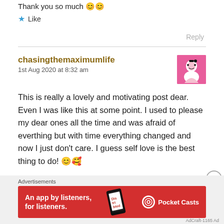Thank you so much 😊😊
★ Like
Reply
chasingthemaximumlife
1st Aug 2020 at 8:32 am
This is really a lovely and motivating post dear. Even I was like this at some point. I used to please my dear ones all the time and was afraid of everthing but with time everything changed and now I just don't care. I guess self love is the best thing to do! 😊🥰
[Figure (other): Pocket Casts advertisement banner: red background with text 'An app by listeners, for listeners.' and Pocket Casts logo]